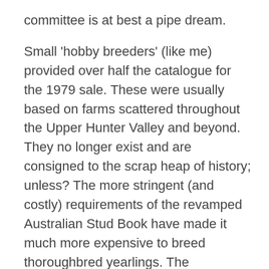committee is at best a pipe dream.
Small 'hobby breeders' (like me) provided over half the catalogue for the 1979 sale. These were usually based on farms scattered throughout the Upper Hunter Valley and beyond. They no longer exist and are consigned to the scrap heap of history; unless? The more stringent (and costly) requirements of the revamped Australian Stud Book have made it much more expensive to breed thoroughbred yearlings. The vicissitudes of 'unmanageable' climate changes (droughts) and consequent escalating feed costs have not helped.
However the sale has produced a host of racetrack stars in recent years including G1 winning sprinter Voodoo Lad, G2 winning 2YO's Time For War and